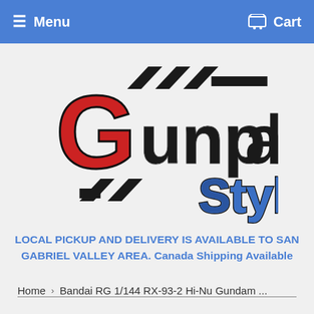Menu   Cart
[Figure (logo): Gunpla Style logo with large red G, black diagonal stripes, and blue 'Style' text]
LOCAL PICKUP AND DELIVERY IS AVAILABLE TO SAN GABRIEL VALLEY AREA. Canada Shipping Available
Home › Bandai RG 1/144 RX-93-2 Hi-Nu Gundam ...